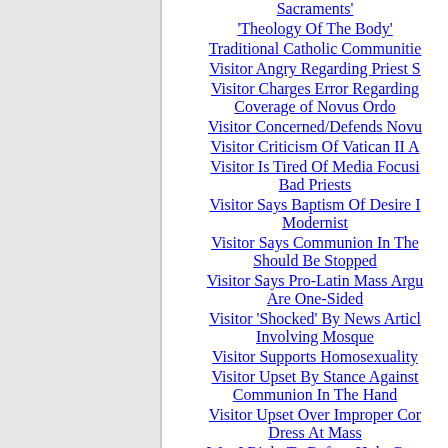Sacraments'
'Theology Of The Body'
Traditional Catholic Communities
Visitor Angry Regarding Priest S
Visitor Charges Error Regarding Coverage of Novus Ordo
Visitor Concerned/Defends Novu
Visitor Criticism Of Vatican II A
Visitor Is Tired Of Media Focusi Bad Priests
Visitor Says Baptism Of Desire I Modernist
Visitor Says Communion In The Should Be Stopped
Visitor Says Pro-Latin Mass Argu Are One-Sided
Visitor 'Shocked' By News Articl Involving Mosque
Visitor Supports Homosexuality
Visitor Upset By Stance Against Communion In The Hand
Visitor Upset Over Improper Cor Dress At Mass
Was I Right To Refuse Holy Com